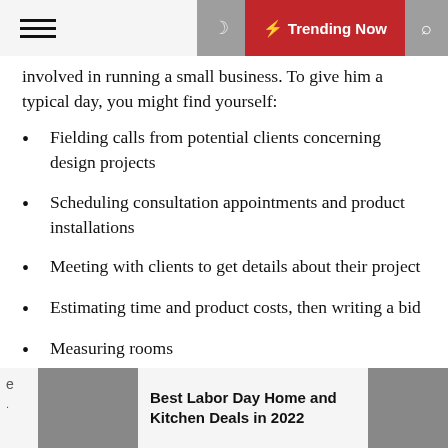☰  🌙  ⚡ Trending Now  🔍
involved in running a small business. To give him a typical day, you might find yourself:
Fielding calls from potential clients concerning design projects
Scheduling consultation appointments and product installations
Meeting with clients to get details about their project
Estimating time and product costs, then writing a bid
Measuring rooms
Researching and ordering accessories, furniture and hard goods like window treatments
Best Labor Day Home and Kitchen Deals in 2022